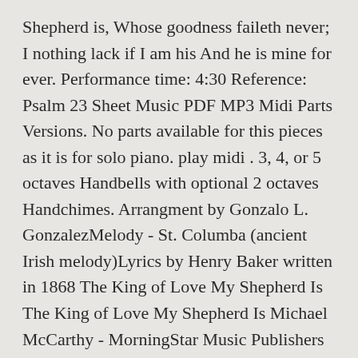Shepherd is, Whose goodness faileth never; I nothing lack if I am his And he is mine for ever. Performance time: 4:30 Reference: Psalm 23 Sheet Music PDF MP3 Midi Parts Versions. No parts available for this pieces as it is for solo piano. play midi . 3, 4, or 5 octaves Handbells with optional 2 octaves Handchimes. Arrangment by Gonzalo L. GonzalezMelody - St. Columba (ancient Irish melody)Lyrics by Henry Baker written in 1868 The King of Love My Shepherd Is The King of Love My Shepherd Is Michael McCarthy - MorningStar Music Publishers This beautiful setting was written for and performed at the funeral of President Gerald R. Ford, held at the Washington National Cathedral on January 2, 2007. This